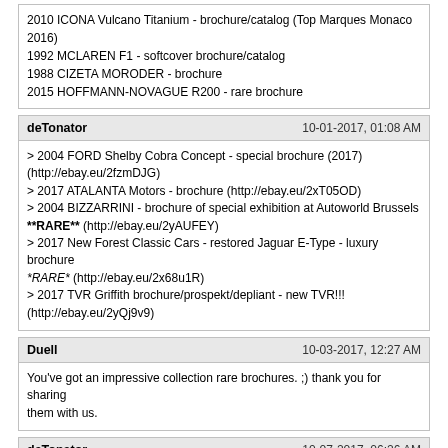2010 ICONA Vulcano Titanium - brochure/catalog (Top Marques Monaco 2016)
1992 MCLAREN F1 - softcover brochure/catalog
1988 CIZETA MORODER - brochure
2015 HOFFMANN-NOVAGUE R200 - rare brochure
deTonator
10-01-2017, 01:08 AM
> 2004 FORD Shelby Cobra Concept - special brochure (2017) (http://ebay.eu/2fzmDJG)
> 2017 ATALANTA Motors - brochure (http://ebay.eu/2xT05OD)
> 2004 BIZZARRINI - brochure of special exhibition at Autoworld Brussels **RARE** (http://ebay.eu/2yAUFEY)
> 2017 New Forest Classic Cars - restored Jaguar E-Type - luxury brochure *RARE* (http://ebay.eu/2x68u1R)
> 2017 TVR Griffith brochure/prospekt/depliant - new TVR!!! (http://ebay.eu/2yQj9v9)
Duell
10-03-2017, 12:27 AM
You've got an impressive collection rare brochures. ;) thank you for sharing them with us.
deTonator
10-07-2017, 06:26 AM
> 2017 BMW 8 Series Concept - luxury lithography brochure / booklet (http://ebay.eu/2gkcOjC)
> 2005 FENOMENON (Lancia) Stratos Concept - brochure / catalog (http://ebay.eu/2fRNhh9)
> 2005 GILLET Vertigo - brochure (http://ebay.eu/2kvfPCn)
> 2007 RUSSO-BALTIQUE Impression - brochure/catalog (http://ebay.eu/2fXWGHE)